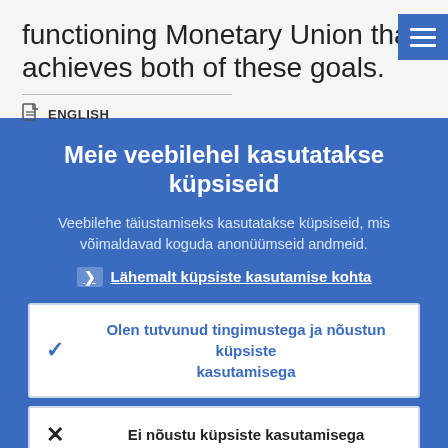functioning Monetary Union that achieves both of these goals.
ENGLISH
Meie veebilehel kasutatakse küpsiseid
Veebilehe täiustamiseks kasutatakse küpsiseid, mis võimaldavad koguda anonüümseid andmeid.
Lähemalt küpsiste kasutamise kohta
Olen tutvunud tingimustega ja nõustun küpsiste kasutamisega
Ei nõustu küpsiste kasutamisega